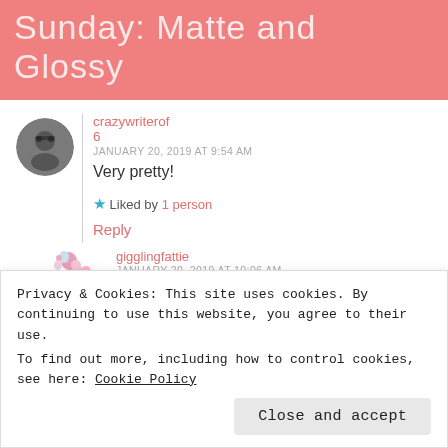Sunday: Matte and Glossy
crazywriterof6
JANUARY 20, 2019 AT 9:54 AM
Very pretty!
Liked by 1 person
Reply
gigglingfattie
JANUARY 20, 2019 AT 10:06 AM
Privacy & Cookies: This site uses cookies. By continuing to use this website, you agree to their use.
To find out more, including how to control cookies, see here: Cookie Policy
Close and accept